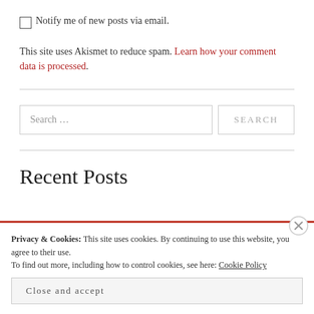☐ Notify me of new posts via email.
This site uses Akismet to reduce spam. Learn how your comment data is processed.
[Figure (other): Search bar with text field showing 'Search …' and a SEARCH button]
Recent Posts
Privacy & Cookies: This site uses cookies. By continuing to use this website, you agree to their use. To find out more, including how to control cookies, see here: Cookie Policy
Close and accept